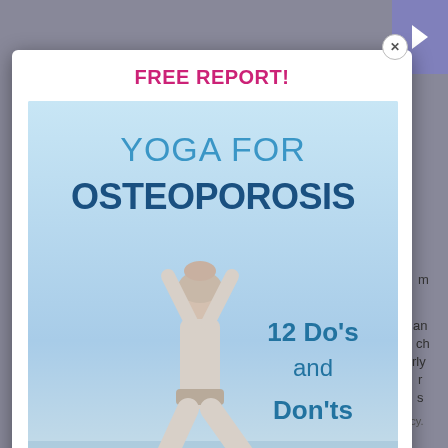FREE REPORT!
[Figure (illustration): Book cover for 'Yoga for Osteoporosis: 12 Do's and Don'ts' with Dr. Loren Fishman and Ellen Saltonstall. Shows a person doing a yoga pose on a beach, viewed from behind, with arms raised overhead.]
Osteoporosis can be prevented and treated with a regimen of weight-bearing exercises, such as yoga, as well as good diet and lifestyle routines.